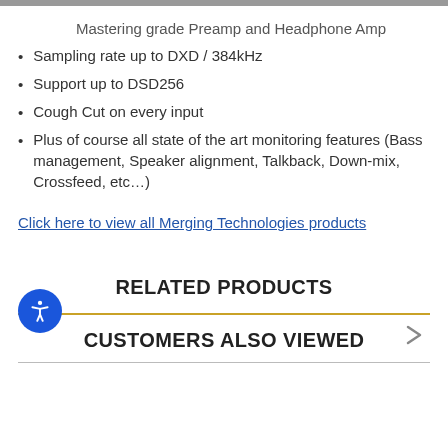Mastering grade Preamp and Headphone Amp
Sampling rate up to DXD / 384kHz
Support up to DSD256
Cough Cut on every input
Plus of course all state of the art monitoring features (Bass management, Speaker alignment, Talkback, Down-mix, Crossfeed, etc…)
Click here to view all Merging Technologies products
RELATED PRODUCTS
CUSTOMERS ALSO VIEWED